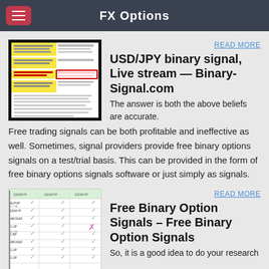FX Options
[Figure (screenshot): Thumbnail image of a document with yellow and red highlighted sections, binary options trading signals page]
READ MORE
USD/JPY binary signal, Live stream — Binary-Signal.com
The answer is both the above beliefs are accurate. Free trading signals can be both profitable and ineffective as well. Sometimes, signal providers provide free binary options signals on a test/trial basis. This can be provided in the form of free binary options signals software or just simply as signals.
[Figure (screenshot): Thumbnail image of a table with checkmarks and an X mark, showing binary option signals]
READ MORE
Free Binary Option Signals – Free Binary Option Signals
So, it is a good idea to do your research and enter the binary options market slowly and cautiously. Binary